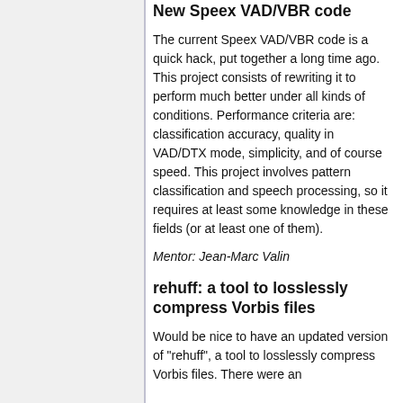New Speex VAD/VBR code
The current Speex VAD/VBR code is a quick hack, put together a long time ago. This project consists of rewriting it to perform much better under all kinds of conditions. Performance criteria are: classification accuracy, quality in VAD/DTX mode, simplicity, and of course speed. This project involves pattern classification and speech processing, so it requires at least some knowledge in these fields (or at least one of them).
Mentor: Jean-Marc Valin
rehuff: a tool to losslessly compress Vorbis files
Would be nice to have an updated version of "rehuff", a tool to losslessly compress Vorbis files. There were an